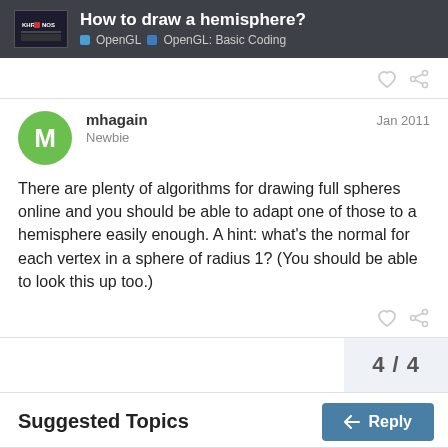How to draw a hemisphere? | OpenGL | OpenGL: Basic Coding
mhagain
Newbie
Jan 2011
There are plenty of algorithms for drawing full spheres online and you should be able to adapt one of those to a hemisphere easily enough. A hint: what's the normal for each vertex in a sphere of radius 1? (You should be able to look this up too.)
4 / 4
Suggested Topics